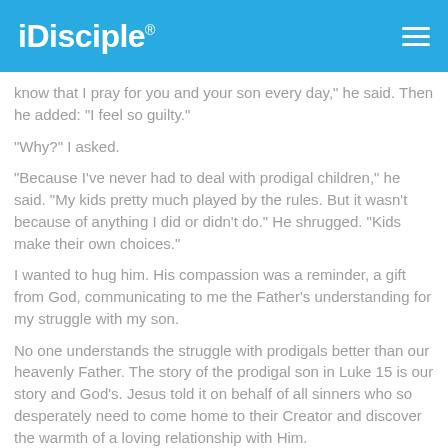iDisciple
know that I pray for you and your son every day," he said. Then he added: "I feel so guilty."
"Why?" I asked.
"Because I've never had to deal with prodigal children," he said. "My kids pretty much played by the rules. But it wasn't because of anything I did or didn't do." He shrugged. "Kids make their own choices."
I wanted to hug him. His compassion was a reminder, a gift from God, communicating to me the Father's understanding for my struggle with my son.
No one understands the struggle with prodigals better than our heavenly Father. The story of the prodigal son in Luke 15 is our story and God's. Jesus told it on behalf of all sinners who so desperately need to come home to their Creator and discover the warmth of a loving relationship with Him.